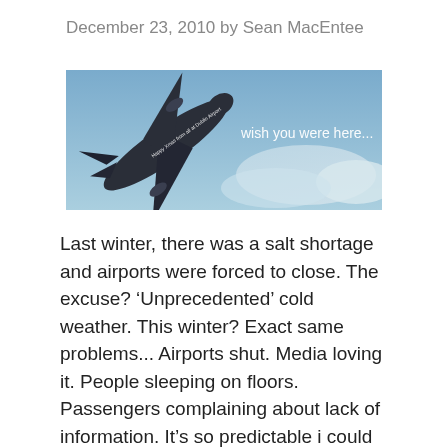December 23, 2010 by Sean MacEntee
[Figure (photo): Photograph of an airplane viewed from below against a blue sky, with white text on the fuselage reading 'Happy Xmas from all at Dublin Airport' and large white text to the right reading 'wish you were here...']
Last winter, there was a salt shortage and airports were forced to close. The excuse? ‘Unprecedented’ cold weather. This winter? Exact same problems... Airports shut. Media loving it. People sleeping on floors. Passengers complaining about lack of information. It’s so predictable i could